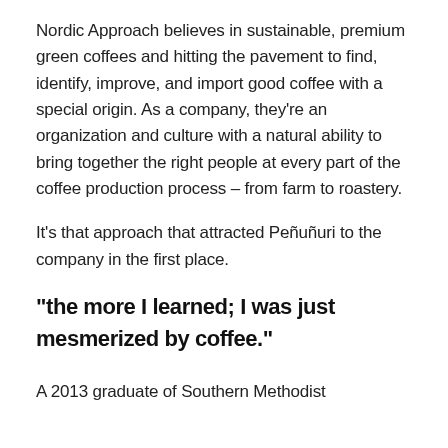Nordic Approach believes in sustainable, premium green coffees and hitting the pavement to find, identify, improve, and import good coffee with a special origin. As a company, they’re an organization and culture with a natural ability to bring together the right people at every part of the coffee production process – from farm to roastery.
It’s that approach that attracted Peñuñuri to the company in the first place.
“the more I learned; I was just mesmerized by coffee.”
A 2013 graduate of Southern Methodist